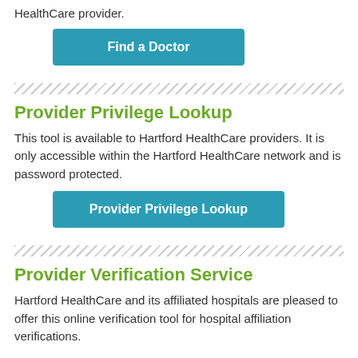HealthCare provider.
Find a Doctor
Provider Privilege Lookup
This tool is available to Hartford HealthCare providers. It is only accessible within the Hartford HealthCare network and is password protected.
Provider Privilege Lookup
Provider Verification Service
Hartford HealthCare and its affiliated hospitals are pleased to offer this online verification tool for hospital affiliation verifications.